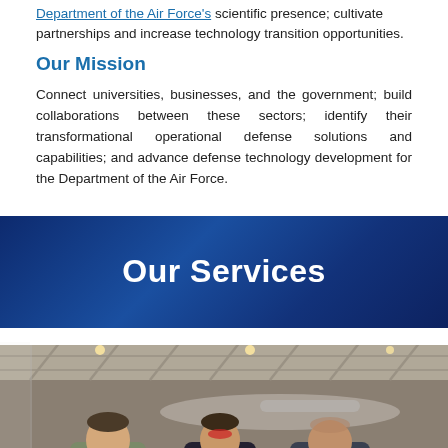Department of the Air Force's scientific presence; cultivate partnerships and increase technology transition opportunities.
Our Mission
Connect universities, businesses, and the government; build collaborations between these sectors; identify their transformational operational defense solutions and capabilities; and advance defense technology development for the Department of the Air Force.
Our Services
[Figure (photo): Three men working together in a hangar, looking at equipment near an aircraft. Industrial hangar interior with roof trusses visible.]